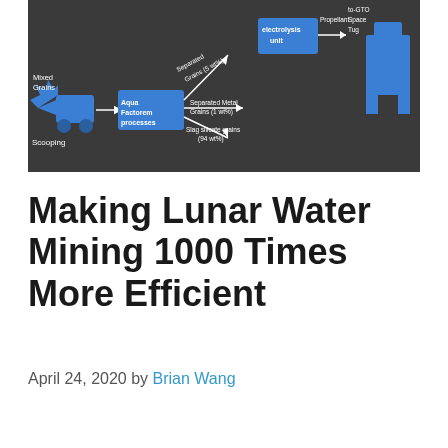[Figure (infographic): Diagram on dark chalkboard-like background showing lunar water mining process with blue illustrated components: Scooping rover collecting Mixed Grains, feeding into Aqua Factorem processes unit, which outputs Separated Grains (5 wt%) going to electrolysis unit leading to Propellant to-GTO Space Tug, Separated Metal Grains (1 wt%), and Slag silicate grains (94 wt%). Blue illustrated figures and arrows connect the steps.]
Making Lunar Water Mining 1000 Times More Efficient
April 24, 2020 by Brian Wang